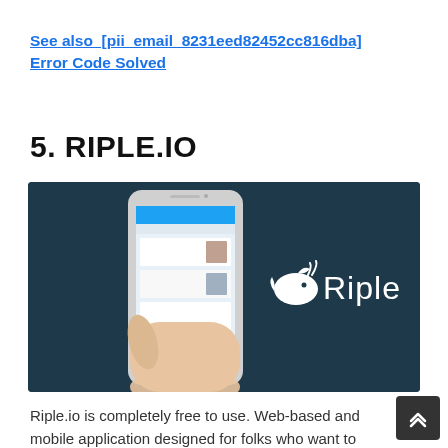See also  [pii_email_8231eed82452cc816dba] Error Code Solved
5. RIPLE.IO
[Figure (photo): A hand holding a smartphone showing the Riple app (Twitter-like feed) against a dark navy background, with the Riple whale logo and 'Riple' text on the right side.]
Riple.io is completely free to use. Web-based and mobile application designed for folks who want to